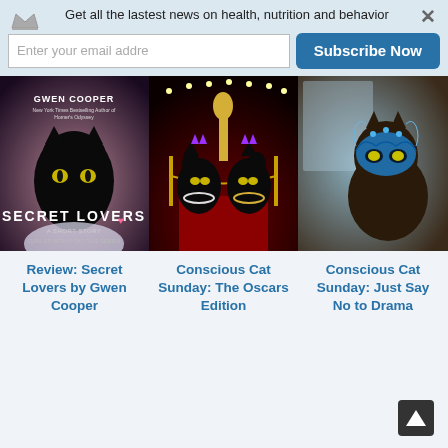Get all the lastest news on health, nutrition and behavior
Enter your email addre
Subscribe Now
[Figure (photo): Book cover: Secret Lovers by Gwen Cooper, showing a black cat against a pinkish background with text 'SECRET LOVERS' and 'Curl Up With a Cat Tale Series']
Review: Secret Lovers by Gwen Cooper
[Figure (photo): Two black cats dressed glamorously on a red carpet with an Oscar statue, wearing jewelry and crowns]
Conscious Cat Sunday: The Oscars Edition
[Figure (photo): A dark cat wearing a blue decorative mask]
Conscious Cat Sunday: Just Say No to Drama